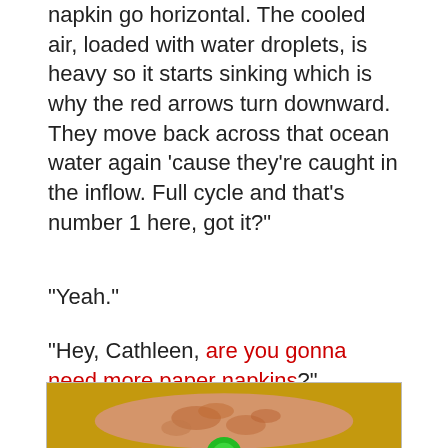napkin go horizontal.  The cooled air, loaded with water droplets, is heavy so it starts sinking which is why the red arrows turn downward.  They move back across that ocean water again ‘cause they’re caught in the inflow.  Full cycle and that’s number 1 here, got it?”
“Yeah.”
“Hey, Cathleen,  are you gonna need more paper napkins?”
[Figure (photo): Photo of a flat pizza or bread-like food item on a golden-yellow background, with a green circular item partially visible]